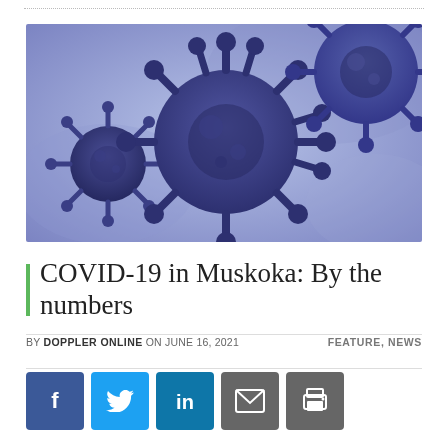[Figure (photo): Close-up illustration of coronavirus (COVID-19) particles rendered in purple/blue tones against a blue background, showing three virus cells with spike proteins]
COVID-19 in Muskoka: By the numbers
BY DOPPLER ONLINE ON JUNE 16, 2021   FEATURE, NEWS
[Figure (infographic): Social media sharing buttons: Facebook (blue), Twitter (light blue), LinkedIn (teal/blue), Email (grey envelope icon), Print (grey printer icon)]